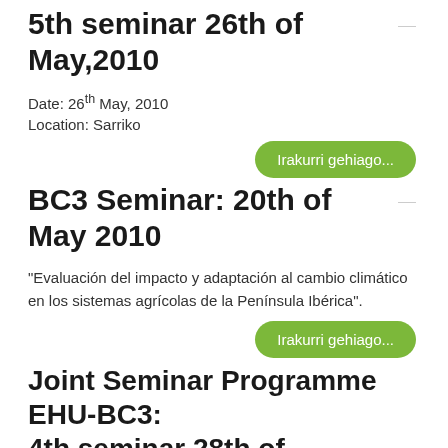5th seminar 26th of May,2010
Date: 26th May, 2010
Location: Sarriko
Irakurri gehiago...
BC3 Seminar: 20th of May 2010
“Evaluación del impacto y adaptación al cambio climático en los sistemas agrícolas de la Península Ibérica”.
Irakurri gehiago...
Joint Seminar Programme EHU-BC3: 4th seminar 28th of April,2010